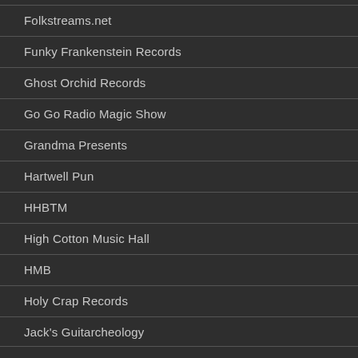Folkstreams.net
Funky Frankenstein Records
Ghost Orchid Records
Go Go Radio Magic Show
Grandma Presents
Hartwell Pun
HHBTM
High Cotton Music Hall
HMB
Holy Crap Records
Jack's Guitarcheology